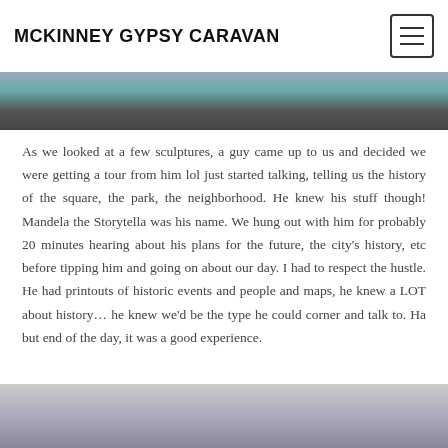MCKINNEY GYPSY CARAVAN
[Figure (photo): Top portion of a photo, partially cropped showing dark tones at top of page]
As we looked at a few sculptures, a guy came up to us and decided we were getting a tour from him lol just started talking, telling us the history of the square, the park, the neighborhood. He knew his stuff though! Mandela the Storytella was his name. We hung out with him for probably 20 minutes hearing about his plans for the future, the city's history, etc before tipping him and going on about our day. I had to respect the hustle. He had printouts of historic events and people and maps, he knew a LOT about history… he knew we'd be the type he could corner and talk to. Ha but end of the day, it was a good experience.
[Figure (photo): Bottom photo showing trees and a building edge, partially cropped]